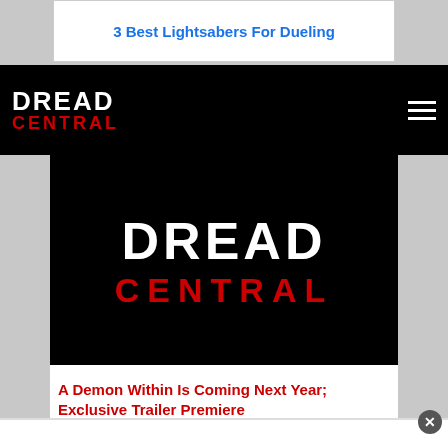[Figure (screenshot): Advertisement banner showing '3 Best Lightsabers For Dueling' in blue hyperlink text on white background]
DREAD CENTRAL navigation bar with logo and hamburger menu
[Figure (logo): Dread Central logo on black background — large white distressed 'DREAD' text above red 'CENTRAL' text]
A Demon Within Is Coming Next Year; Exclusive Trailer Premiere